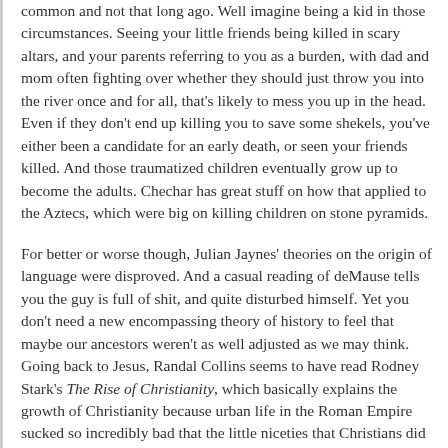common and not that long ago. Well imagine being a kid in those circumstances. Seeing your little friends being killed in scary altars, and your parents referring to you as a burden, with dad and mom often fighting over whether they should just throw you into the river once and for all, that's likely to mess you up in the head. Even if they don't end up killing you to save some shekels, you've either been a candidate for an early death, or seen your friends killed. And those traumatized children eventually grow up to become the adults. Chechar has great stuff on how that applied to the Aztecs, which were big on killing children on stone pyramids.
For better or worse though, Julian Jaynes' theories on the origin of language were disproved. And a casual reading of deMause tells you the guy is full of shit, and quite disturbed himself. Yet you don't need a new encompassing theory of history to feel that maybe our ancestors weren't as well adjusted as we may think. Going back to Jesus, Randal Collins seems to have read Rodney Stark's The Rise of Christianity, which basically explains the growth of Christianity because urban life in the Roman Empire sucked so incredibly bad that the little niceties that Christians did for each other (giving water to sick people) produced such a difference on fertility and mortality rates that